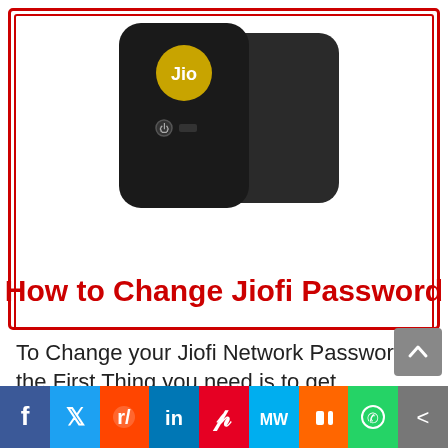[Figure (photo): Jiofi portable WiFi router devices shown with the Jio logo, two black devices displayed together, inside a red double-border box]
How to Change Jiofi Password
To Change your Jiofi Network Password the First Thing you need is to get Connected with it. After Connection your device with Jiofi Network you will be needed to log in to its Admin Panel. After getting Logged in Go to Settings > Wifi > Security Key. Here you can change last password to your wished password. By Entering your New Password and Click on Confirm.
[Figure (infographic): Social media share bar at the bottom with icons for Facebook, Twitter, Reddit, LinkedIn, Pinterest, MixedWrench, Mix, WhatsApp, and a share icon]